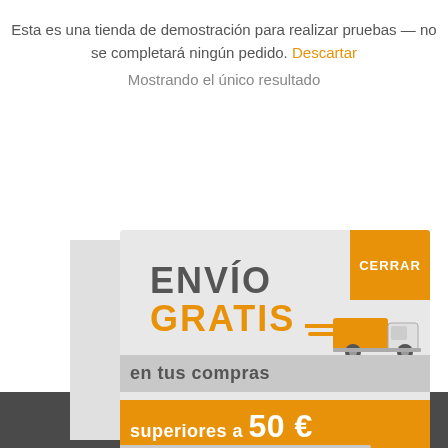Esta es una tienda de demostración para realizar pruebas — no se completará ningún pedido. Descartar
Mostrando el único resultado
[Figure (infographic): A promotional popup overlay showing 'ENVÍO GRATIS en tus compras superiores a 50 € envíos express' with an orange delivery truck illustration and a CERRAR (close) button in orange]
Este sitio web utiliza cookies... Asumiremos que está de acuerdo, pero puede optar por no participar si lo desea.